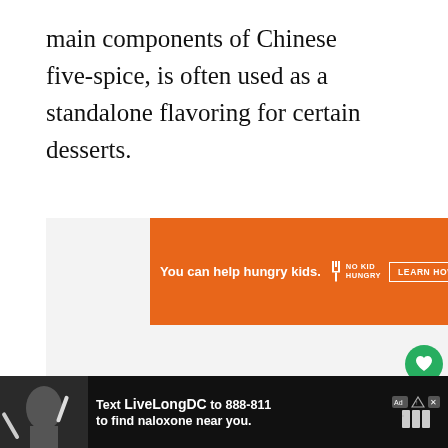main components of Chinese five-spice, is often used as a standalone flavoring for certain desserts.
[Figure (screenshot): Orange advertisement banner: 'You can help hungry kids.' with No Kid Hungry logo and 'LEARN HOW' button, with X close button]
[Figure (infographic): Like button (green circle with heart icon), count of 1, and share button (white circle with share icon) on the right sidebar]
[Figure (screenshot): Bottom advertisement: 'Text LiveLongDC to 888-811 to find naloxone near you.' on dark background with DBH logo]